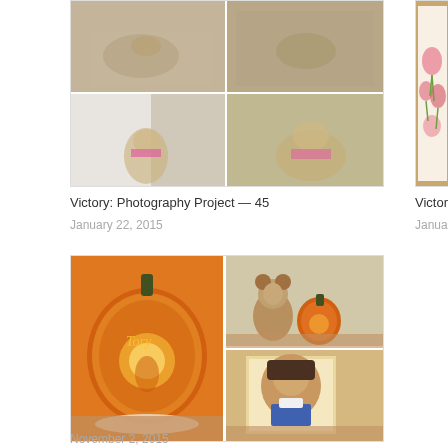[Figure (photo): Four-photo grid of a Sheltie/Collie dog walking and posing in a pink costume outdoors]
Victory: Photography Project — 45
January 22, 2015
[Figure (photo): Framed botanical/floral watercolor painting with pink flowers and green leaves on white background with wooden frame]
Victory: Paw Art
January 14, 2015
[Figure (photo): Three-photo grid: large carved pumpkin with 'Tory' and dog silhouette, dog in bear costume next to small pumpkin, and illustrated portrait of dog as Dorothy from Wizard of Oz]
Victory: Photography Project — 75
November 2, 2015